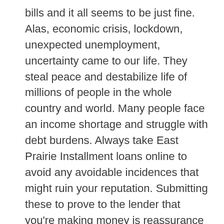bills and it all seems to be just fine. Alas, economic crisis, lockdown, unexpected unemployment, uncertainty came to our life. They steal peace and destabilize life of millions of people in the whole country and world. Many people face an income shortage and struggle with debt burdens. Always take East Prairie Installment loans online to avoid any avoidable incidences that might ruin your reputation. Submitting these to prove to the lender that you're making money is reassurance that you will pay them back. It is also a great way to convince your lender to let you have the loan. The loan was credited to my account on the very next day. In some cases, lenders may refuse to pay you the amount of the loan because they feel the amount is too high for you to pay back. This shouldn't happen frequently, but if it does, you must look for other lenders.